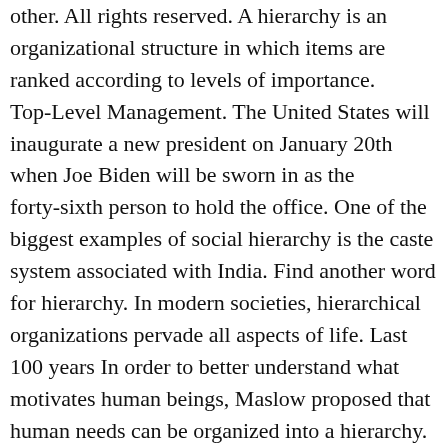other. All rights reserved. A hierarchy is an organizational structure in which items are ranked according to levels of importance. Top-Level Management. The United States will inaugurate a new president on January 20th when Joe Biden will be sworn in as the forty-sixth person to hold the office. One of the biggest examples of social hierarchy is the caste system associated with India. Find another word for hierarchy. In modern societies, hierarchical organizations pervade all aspects of life. Last 100 years In order to better understand what motivates human beings, Maslow proposed that human needs can be organized into a hierarchy. What is the Kitchen Hierarchy? At the very base of the pyramid, there is the basis of every research – Idea followed by laboratory research. Hierarchy describes a system that organizes or